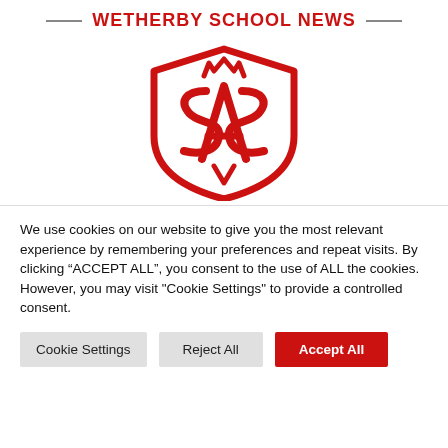WETHERBY SCHOOL NEWS
[Figure (logo): Wetherby School red shield crest/logo with intertwined letters on a white background]
We use cookies on our website to give you the most relevant experience by remembering your preferences and repeat visits. By clicking “ACCEPT ALL”, you consent to the use of ALL the cookies. However, you may visit "Cookie Settings" to provide a controlled consent.